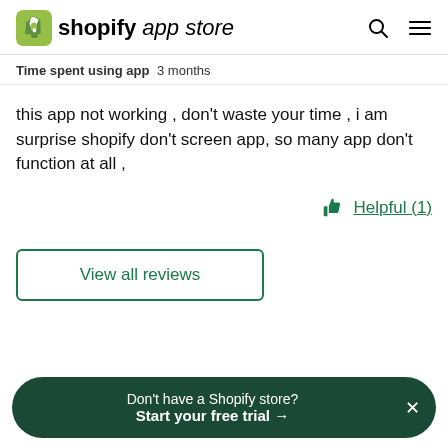shopify app store
Time spent using app  3 months
this app not working , don't waste your time , i am surprise shopify don't screen app, so many app don't function at all ,
Helpful (1)
View all reviews
Don't have a Shopify store? Start your free trial →